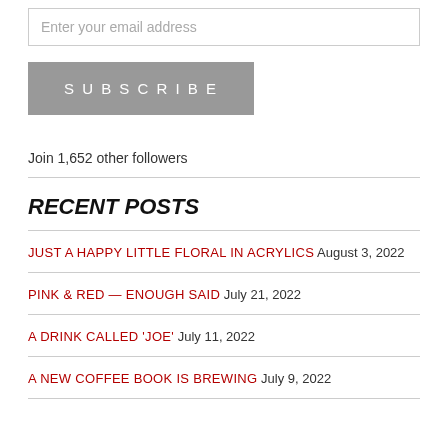Enter your email address
SUBSCRIBE
Join 1,652 other followers
RECENT POSTS
JUST A HAPPY LITTLE FLORAL IN ACRYLICS August 3, 2022
PINK & RED — ENOUGH SAID July 21, 2022
A DRINK CALLED 'JOE' July 11, 2022
A NEW COFFEE BOOK IS BREWING July 9, 2022